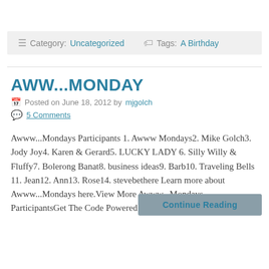≡ Category: Uncategorized  🏷 Tags: A Birthday
AWW...MONDAY
Posted on June 18, 2012 by mjgolch
5 Comments
Awww...Mondays Participants 1. Awww Mondays2. Mike Golch3. Jody Joy4. Karen & Gerard5. LUCKY LADY 6. Silly Willy & Fluffy7. Bolerong Banat8. business ideas9. Barb10. Traveling Bells 11. Jean12. Ann13. Rose14. stevebethere Learn more about Awww...Mondays here.View More Awww...Mondays ParticipantsGet The Code Powered by... Mister...
Continue Reading